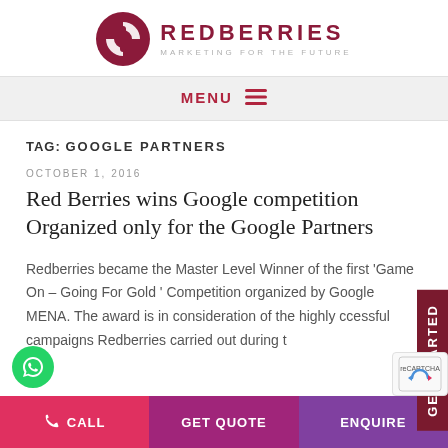[Figure (logo): Redberries logo: dark red circle with arrow icon, company name REDBERRIES in dark red uppercase letters, tagline MARKETING FOR THE FUTURE in grey]
MENU ≡
TAG: GOOGLE PARTNERS
OCTOBER 1, 2016
Red Berries wins Google competition Organized only for the Google Partners
Redberries became the Master Level Winner of the first 'Game On – Going For Gold ' Competition organized by Google MENA. The award is in consideration of the highly successful campaigns Redberries carried out during t
CALL   GET QUOTE   ENQUIRE